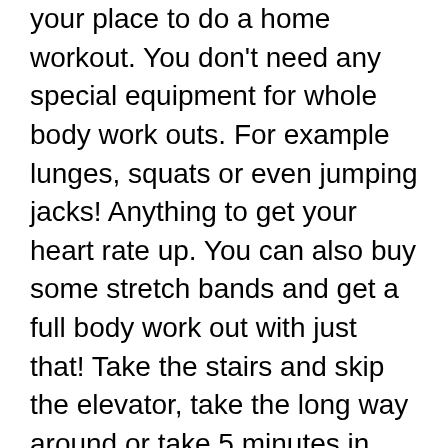your place to do a home workout. You don't need any special equipment for whole body work outs. For example lunges, squats or even jumping jacks! Anything to get your heart rate up. You can also buy some stretch bands and get a full body work out with just that! Take the stairs and skip the elevator, take the long way around or take 5 minutes in your day and walk around. Don't have time work out? Take 10 minutes and do a few things before you sit down on the couch and watch some TV for the night. Get yourself up move even if it's only for 3 minutes. It's better than nothing.
So as we enjoy the rest of winter take some time for yourself and continue to stay active even if it's only for a few minutes. Also set some goals for yourself in 2020. It's a new year and take time to reflect on what you've achieved in 2019 and set the bar a little higher for yourself this year. Choose a goal that matters to you and ask yourself what you really want to accomplish.